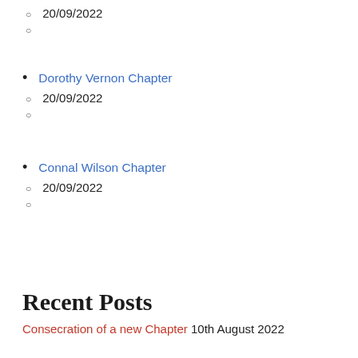20/09/2022
Dorothy Vernon Chapter
20/09/2022
Connal Wilson Chapter
20/09/2022
Recent Posts
Consecration of a new Chapter 10th August 2022